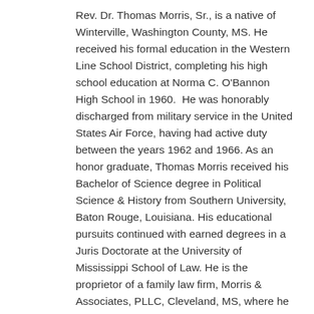Rev. Dr. Thomas Morris, Sr., is a native of Winterville, Washington County, MS. He received his formal education in the Western Line School District, completing his high school education at Norma C. O'Bannon High School in 1960.  He was honorably discharged from military service in the United States Air Force, having had active duty between the years 1962 and 1966. As an honor graduate, Thomas Morris received his Bachelor of Science degree in Political Science & History from Southern University, Baton Rouge, Louisiana. His educational pursuits continued with earned degrees in a Juris Doctorate at the University of Mississippi School of Law. He is the proprietor of a family law firm, Morris & Associates, PLLC, Cleveland, MS, where he practices law with two daughters, a son, and a daughter-in-law, who are attorneys and counselors at Law.
As a minister of the Gospel, Rev. Morris has served